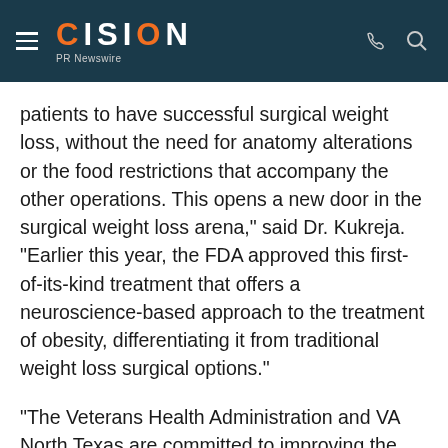CISION PR Newswire
patients to have successful surgical weight loss, without the need for anatomy alterations or the food restrictions that accompany the other operations. This opens a new door in the surgical weight loss arena," said Dr. Kukreja. "Earlier this year, the FDA approved this first-of-its-kind treatment that offers a neuroscience-based approach to the treatment of obesity, differentiating it from traditional weight loss surgical options."
"The Veterans Health Administration and VA North Texas are committed to improving the health and well-being of Veterans through health care